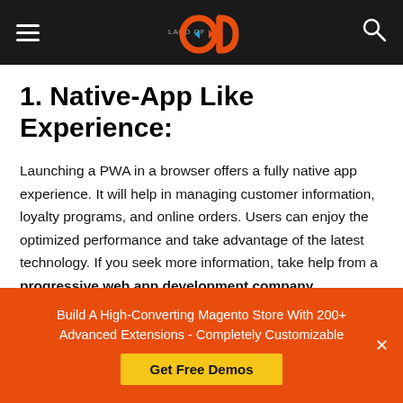Land of OD — navigation header
1. Native-App Like Experience:
Launching a PWA in a browser offers a fully native app experience. It will help in managing customer information, loyalty programs, and online orders. Users can enjoy the optimized performance and take advantage of the latest technology. If you seek more information, take help from a progressive web app development company.
2. Enhanced Security
Build A High-Converting Magento Store With 200+ Advanced Extensions - Completely Customizable
Get Free Demos